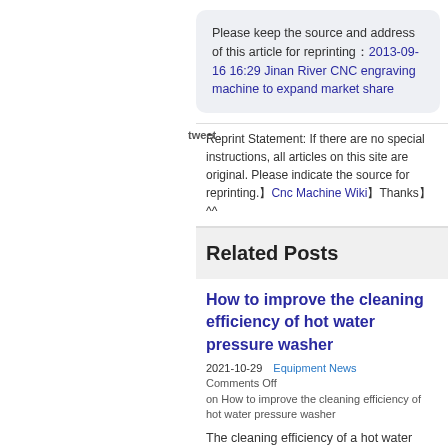Please keep the source and address of this article for reprinting：2013-09-16 16:29 Jinan River CNC engraving machine to expand market share
tweet
Reprint Statement: If there are no special instructions, all articles on this site are original. Please indicate the source for reprinting.】Cnc Machine Wiki】Thanks】^^
Related Posts
How to improve the cleaning efficiency of hot water pressure washer
2021-10-29   Equipment News
Comments Off on How to improve the cleaning efficiency of hot water pressure washer
The cleaning efficiency of a hot water high-pressure cleaner is not only related to the density and speed of the high-pressure water jet, but also to the nominal distance